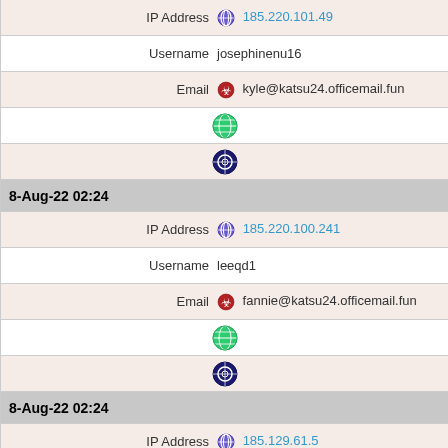| IP Address | 🧅 185.220.101.49 |
| Username | josephinenu16 |
| Email | ☣ kyle@katsu24.officemail.fun |
| [globe icon] |  |
| [opera icon] |  |
| 8-Aug-22 02:24 |  |
| IP Address | 🧅 185.220.100.241 |
| Username | leeqd1 |
| Email | ☣ fannie@katsu24.officemail.fun |
| [globe icon] |  |
| [opera icon] |  |
| 8-Aug-22 02:24 |  |
| IP Address | 🧅 185.129.61.5 |
| Username | leeqd1 |
| Email | ☣ fannie@katsu24.officemail.fun |
| [globe icon] [flag DK] |  |
| [opera icon] |  |